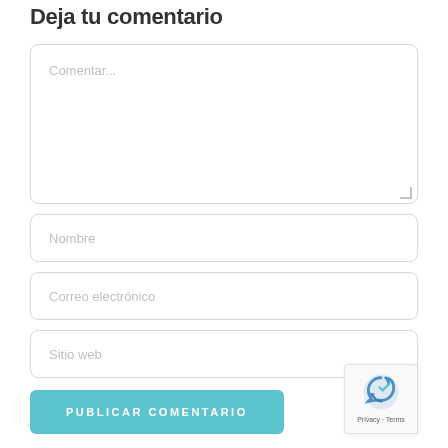Deja tu comentario
[Figure (screenshot): Web comment form with textarea placeholder 'Comentar...', input fields for 'Nombre', 'Correo electrónico', 'Sitio web', a teal 'PUBLICAR COMENTARIO' button, and a reCAPTCHA badge in the bottom right corner.]